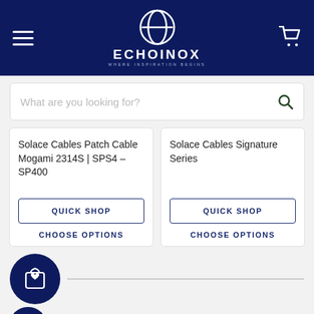ECHOINOX — WHERE INSPIRATION BEGINS
What are you looking for?
Solace Cables Patch Cable Mogami 2314S | SPS4 – SP400
QUICK SHOP
CHOOSE OPTIONS
Solace Cables Signature Series
QUICK SHOP
CHOOSE OPTIONS